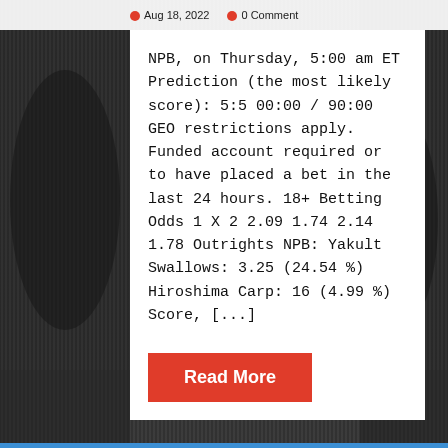Aug 18, 2022   0 Comment
NPB, on Thursday, 5:00 am ET Prediction (the most likely score): 5:5 00:00 / 90:00 GEO restrictions apply. Funded account required or to have placed a bet in the last 24 hours. 18+ Betting Odds 1 X 2 2.09 1.74 2.14 1.78 Outrights NPB: Yakult Swallows: 3.25 (24.54 %) Hiroshima Carp: 16 (4.99 %) Score, [...]
Read More